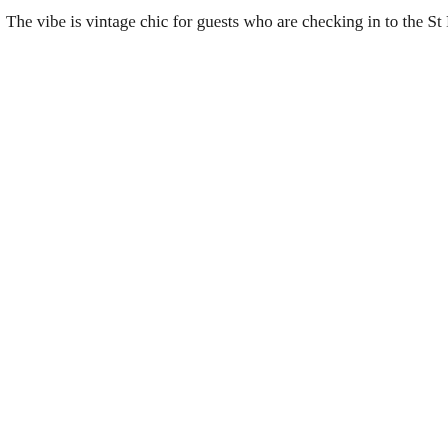The vibe is vintage chic for guests who are checking in to the St Panc